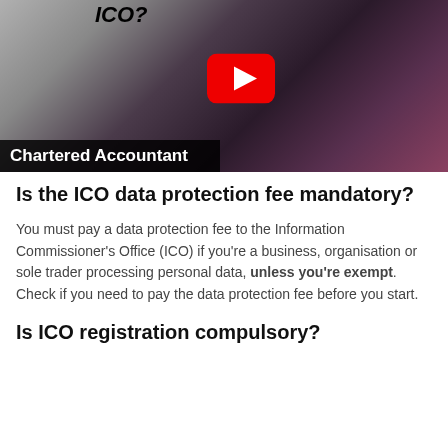[Figure (screenshot): YouTube video thumbnail showing a man in a dark maroon sweater gesturing toward camera, with text 'ICO?' at top and 'Chartered Accountant' bar at bottom, and YouTube play button overlay]
Is the ICO data protection fee mandatory?
You must pay a data protection fee to the Information Commissioner's Office (ICO) if you're a business, organisation or sole trader processing personal data, unless you're exempt. Check if you need to pay the data protection fee before you start.
Is ICO registration compulsory?